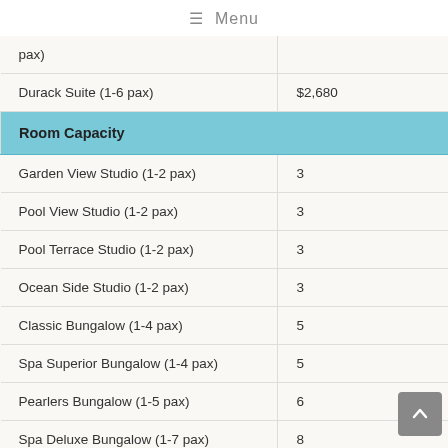≡ Menu
| Room / Type | Value |
| --- | --- |
| pax) |  |
| Durack Suite (1-6 pax) | $2,680 |
| Room Capacity |  |
| Garden View Studio (1-2 pax) | 3 |
| Pool View Studio (1-2 pax) | 3 |
| Pool Terrace Studio (1-2 pax) | 3 |
| Ocean Side Studio (1-2 pax) | 3 |
| Classic Bungalow (1-4 pax) | 5 |
| Spa Superior Bungalow (1-4 pax) | 5 |
| Pearlers Bungalow (1-5 pax) | 6 |
| Spa Deluxe Bungalow (1-7 pax) | 8 |
| Club Apartment (1-4 pax) | 6 |
| Villa (1-2 pax) | 2 |